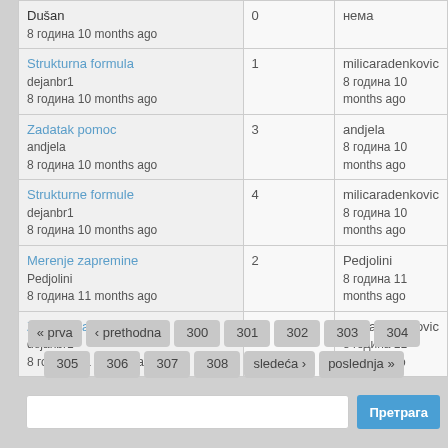| Topic | Replies | Last post |
| --- | --- | --- |
| Dušan
8 година 10 months ago | 0 | нема |
| Strukturna formula
dejanbr1
8 година 10 months ago | 1 | milicaradenkovic
8 година 10 months ago |
| Zadatak pomoc
andjela
8 година 10 months ago | 3 | andjela
8 година 10 months ago |
| Strukturne formule
dejanbr1
8 година 10 months ago | 4 | milicaradenkovic
8 година 10 months ago |
| Merenje zapremine
Pedjolini
8 година 11 months ago | 2 | Pedjolini
8 година 11 months ago |
| Zapremina
dejanbr1
8 година 11 months ago | 1 | milicaradenkovic
8 година 11 months ago |
« prva  ‹ prethodna  300  301  302  303  304  305  306  307  308  sledeća ›  poslednja »